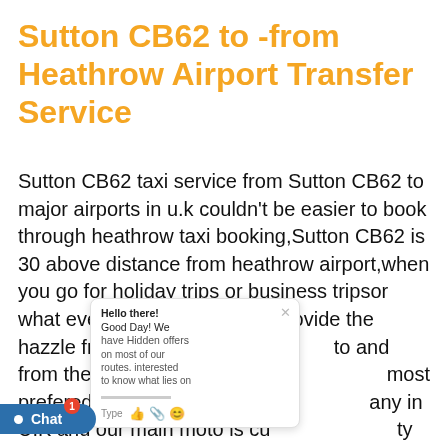Sutton CB62 to -from Heathrow Airport Transfer Service
Sutton CB62 taxi service from Sutton CB62 to major airports in u.k couldn't be easier to book through heathrow taxi booking,Sutton CB62 is 30 above distance from heathrow airport,when you go for holiday trips or business tripsor what ever the reason we will provide the hazzle free door to door to and from the airport safely. we are most prefered reliable airport transfer company in U.K and our main moto is customer safety and comfort. our fares are very competitive and much cheaper option than other airport. We provide 30 minutes FREE waiting